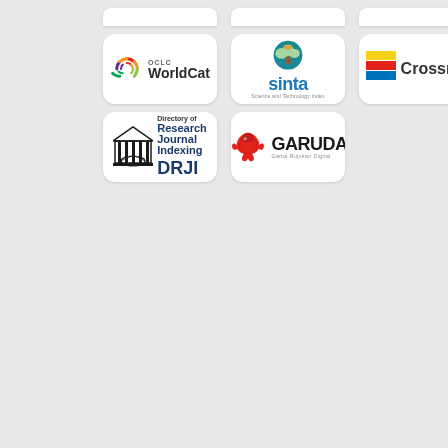[Figure (logo): OCLC WorldCat indexing logo with colorful spiral icon]
[Figure (logo): SINTA Science and Technology Index logo with tree icon]
[Figure (logo): Crossref logo with colored bars icon]
[Figure (logo): DRJI Directory of Research Journal Indexing logo with building/book icon]
[Figure (logo): GARUDA Garba Rujukan Digital logo with eagle icon]